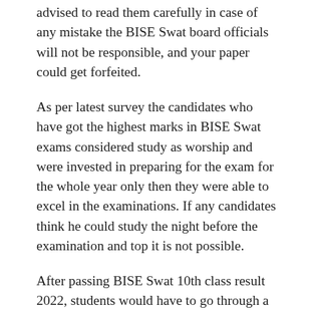advised to read them carefully in case of any mistake the BISE Swat board officials will not be responsible, and your paper could get forfeited.
As per latest survey the candidates who have got the highest marks in BISE Swat exams considered study as worship and were invested in preparing for the exam for the whole year only then they were able to excel in the examinations. If any candidates think he could study the night before the examination and top it is not possible.
After passing BISE Swat 10th class result 2022, students would have to go through a series of interview to get admitted to their favourite high schools and colleges. In all of those interviews, the students being to satisfy for their knowledge about